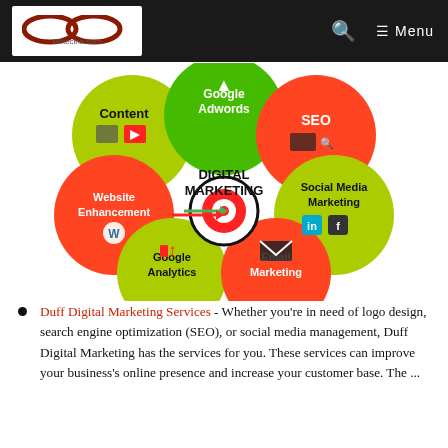Mikecina.com — Menu
[Figure (infographic): Digital Marketing infographic showing interconnected colored circles (green, yellow-green, orange-red) arranged around a central target/bullseye. Circles labeled: Google Adwords (top, green), SEO (top-right, orange-red), Social Media Marketing (right, yellow-green, with LinkedIn and Facebook icons), Email Marketing (bottom-right, orange-red, with envelope icon), Google Analytics (bottom-left, yellow-green, with analytics icon), Website Enhancement (left, orange-red, with WordPress icon), Content (top-left, yellow-green, with newspaper and YouTube icons). Center shows 'DIGITAL MARKETING' text with a target bullseye.]
Duff Digital Marketing Services - Whether you're in need of logo design, search engine optimization (SEO), or social media management, Duff Digital Marketing has the services for you. These services can improve your business's online presence and increase your customer base. The ...